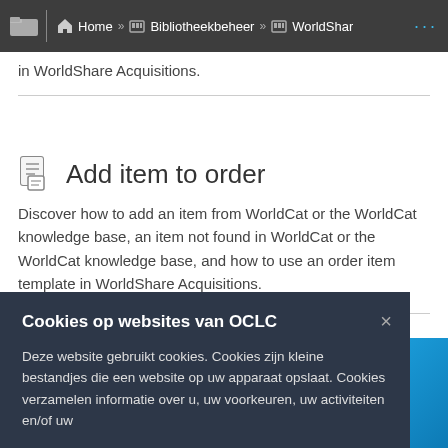Home » Bibliotheekbeheer » WorldShar …
in WorldShare Acquisitions.
Add item to order
Discover how to add an item from WorldCat or the WorldCat knowledge base, an item not found in WorldCat or the WorldCat knowledge base, and how to use an order item template in WorldShare Acquisitions.
Cookies op websites van OCLC
Deze website gebruikt cookies. Cookies zijn kleine bestandjes die een website op uw apparaat opslaat. Cookies verzamelen informatie over u, uw voorkeuren, uw activiteiten en/of uw